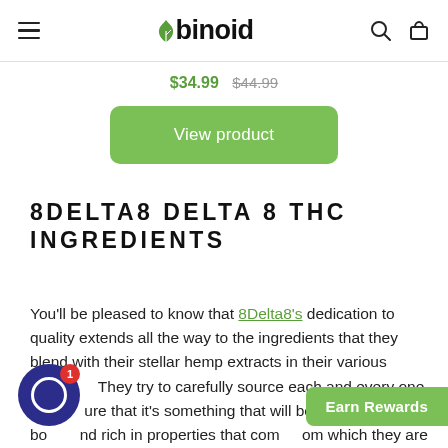binoid
$34.99  $44.99
View product
8DELTA8 DELTA 8 THC INGREDIENTS
You'll be pleased to know that 8Delta8's dedication to quality extends all the way to the ingredients that they blend with their stellar hemp extracts in their various products. They try to carefully source each and every one, making sure that it's something that will be gentle on the body, and rich in properties that come from the plants from which they are derived.